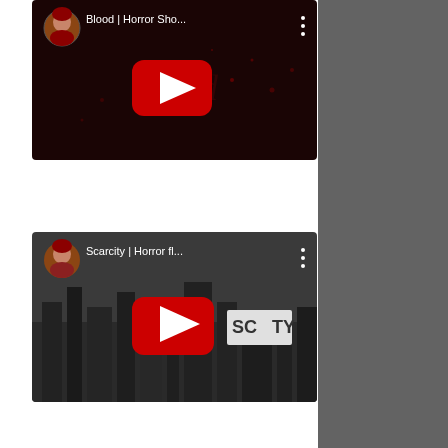[Figure (screenshot): YouTube video thumbnail for 'Blood | Horror Sho...' with a dark red/black horror background, YouTube play button, channel avatar (woman with red hair), and three-dot menu icon]
[Figure (screenshot): YouTube video thumbnail for 'Scarcity | Horror fl...' with a black and white cityscape background, YouTube play button, channel avatar (woman with red hair), and three-dot menu icon]